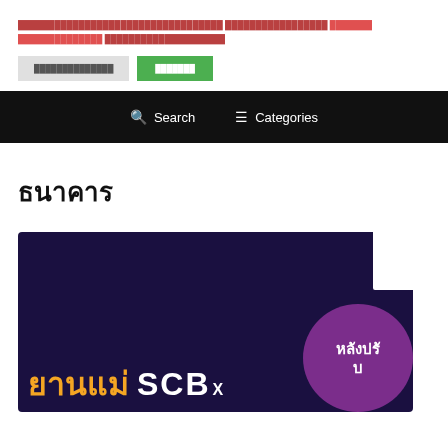██████████████████████████████████ █████████████████ ███████ ██████████████ ████████████████████
[Figure (screenshot): Two buttons: a gray button with Thai placeholder text and a green button with Thai text]
Search   Categories
ธนาคาร
[Figure (photo): SCB X bank promotional banner with dark navy background, orange Thai text 'ยานแม่', white 'SCB' text with superscript 'X', and a purple circle with Thai text 'หลังปรับ']